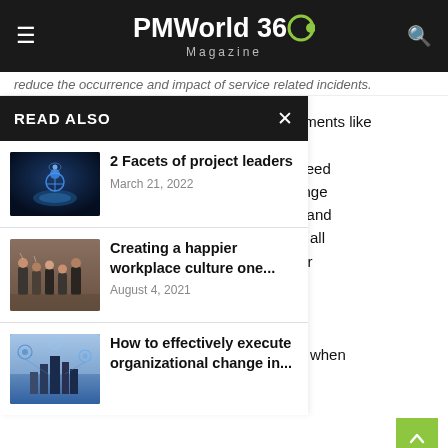PMWorld 360 Magazine
reduce the occurrence and impact of service related incidents.
Issues or other internal and external requirements like legislative initiatives can trigger the need these triggers occur, change ed methods, processes, and nt and timely handling of all ence between the need for al impact of changes. ions for participant roles, d by many organizations when enterprise level.
READ ALSO
[Figure (photo): Person holding glowing figure in hands - dark blue toned image]
2 Facets of project leaders
March 21, 2022
[Figure (photo): Group of business people clapping in a meeting room]
Creating a happier workplace culture one...
August 4, 2021
[Figure (photo): Smart city digital concept with icons and industrial skyline]
How to effectively execute organizational change in...